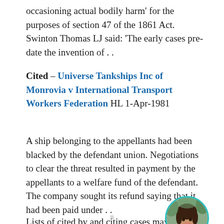occasioning actual bodily harm' for the purposes of section 47 of the 1861 Act. Swinton Thomas LJ said: 'The early cases pre-date the invention of . .
Cited – Universe Tankships Inc of Monrovia v International Transport Workers Federation HL 1-Apr-1981
A ship belonging to the appellants had been blacked by the defendant union. Negotiations to clear the threat resulted in payment by the appellants to a welfare fund of the defendant. The company sought its refund saying that it had been paid under . . Lists of cited by and citing cases may be incomplete.
[Figure (photo): Circular avatar photo of a smiling woman with dark hair, framed with a teal border]